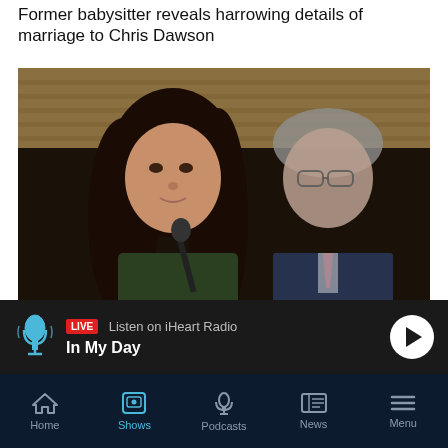Former babysitter reveals harrowing details of marriage to Chris Dawson
[Figure (photo): Press conference photo showing a woman with long dark hair at a microphone, and a man in a suit with glasses in the background]
Mike's Minute: This Government is simply dishonest about tax
[Figure (photo): Outdoor scene with trees and foliage, partially visible]
LIVE  Listen on iHeart Radio
In My Day
Home  Shows  Podcasts  News  Menu